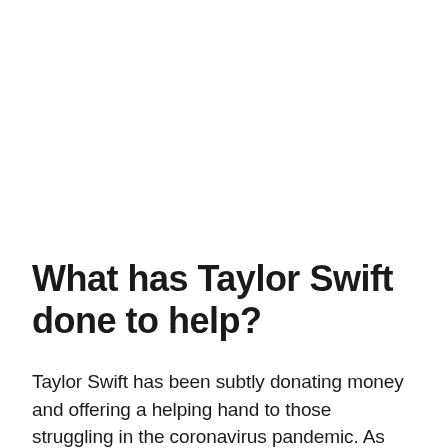What has Taylor Swift done to help?
Taylor Swift has been subtly donating money and offering a helping hand to those struggling in the coronavirus pandemic. As well as offering financial support to those who need it, the 31-year-old has been